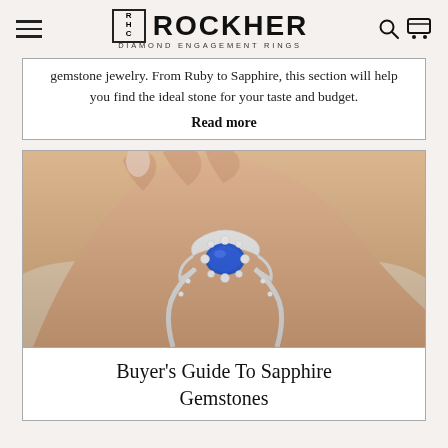ROCKHER — DIAMOND ENGAGEMENT RINGS
gemstone jewelry. From Ruby to Sapphire, this section will help you find the ideal stone for your taste and budget.
Read more
[Figure (photo): Close-up photo of a hand wearing a blue sapphire halo diamond engagement ring on a white textured background]
Buyer's Guide To Sapphire Gemstones